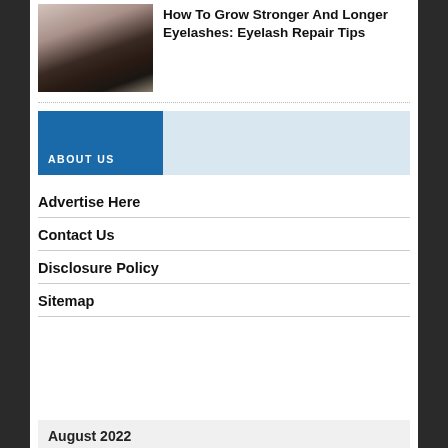[Figure (photo): Close-up photo of an eye with dramatic eyelash extensions]
How To Grow Stronger And Longer Eyelashes: Eyelash Repair Tips
ABOUT US
Advertise Here
Contact Us
Disclosure Policy
Sitemap
August 2022